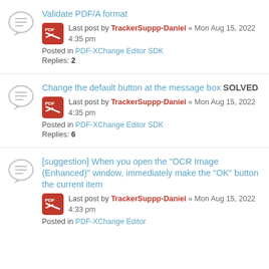Validate PDF/A format — Last post by TrackerSuppp-Daniel « Mon Aug 15, 2022 4:35 pm — Posted in PDF-XChange Editor SDK — Replies: 2
Change the default button at the message box SOLVED — Last post by TrackerSuppp-Daniel « Mon Aug 15, 2022 4:35 pm — Posted in PDF-XChange Editor SDK — Replies: 6
[suggestion] When you open the "OCR Image (Enhanced)" window, immediately make the "OK" button the current item — Last post by TrackerSuppp-Daniel « Mon Aug 15, 2022 4:33 pm — Posted in PDF-XChange Editor